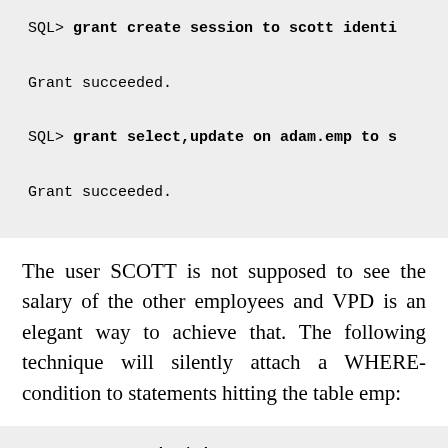SQL> grant create session to scott identi
Grant succeeded.
SQL> grant select,update on adam.emp to s
Grant succeeded.
The user SCOTT is not supposed to see the salary of the other employees and VPD is an elegant way to achieve that. The following technique will silently attach a WHERE-condition to statements hitting the table emp:
SQL> connect adam/adam
Connected.